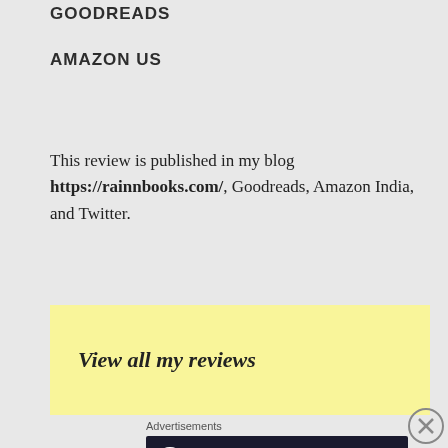GOODREADS
AMAZON US
This review is published in my blog https://rainnbooks.com/, Goodreads, Amazon India, and Twitter.
View all my reviews
Advertisements
[Figure (screenshot): Advertisement banner: Launch your online course with WordPress – Learn More]